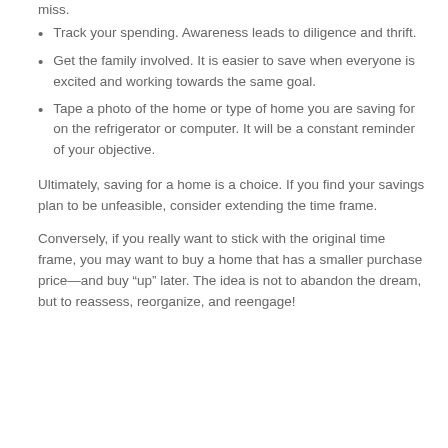Track your spending. Awareness leads to diligence and thrift.
Get the family involved. It is easier to save when everyone is excited and working towards the same goal.
Tape a photo of the home or type of home you are saving for on the refrigerator or computer. It will be a constant reminder of your objective.
Ultimately, saving for a home is a choice. If you find your savings plan to be unfeasible, consider extending the time frame.
Conversely, if you really want to stick with the original time frame, you may want to buy a home that has a smaller purchase price—and buy “up” later. The idea is not to abandon the dream, but to reassess, reorganize, and reengage!